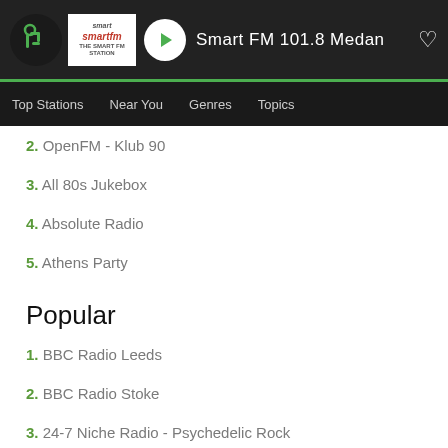Smart FM 101.8 Medan
2. OpenFM - Klub 90
3. All 80s Jukebox
4. Absolute Radio
5. Athens Party
Popular
1. BBC Radio Leeds
2. BBC Radio Stoke
3. 24-7 Niche Radio - Psychedelic Rock
4. 57 Chevy Radio
5. 90s90s Dance